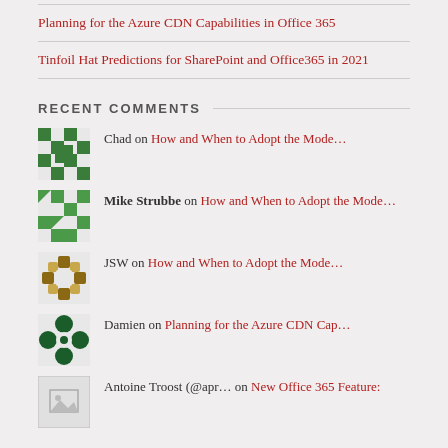Planning for the Azure CDN Capabilities in Office 365
Tinfoil Hat Predictions for SharePoint and Office365 in 2021
RECENT COMMENTS
Chad on How and When to Adopt the Mode…
Mike Strubbe on How and When to Adopt the Mode…
JSW on How and When to Adopt the Mode…
Damien on Planning for the Azure CDN Cap…
Antoine Troost (@apr… on New Office 365 Feature: